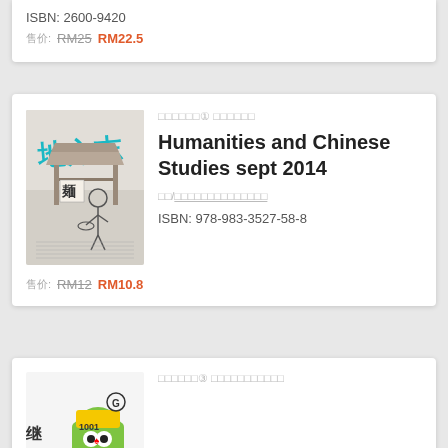ISBN: 2600-9420
售价: RM25 RM22.5
丛书①人文与华人研究
Humanities and Chinese Studies sept 2014
著/人文与华人研究学院
ISBN: 978-983-3527-58-8
售价: RM12 RM10.8
丛书③华人文化与身份认同